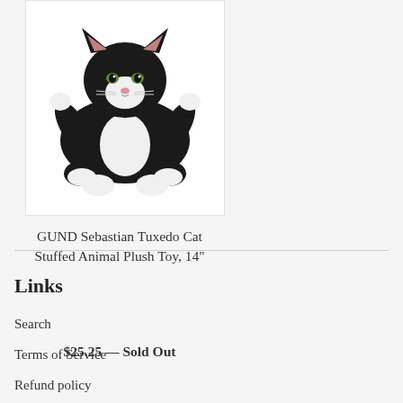[Figure (photo): Black and white tuxedo cat stuffed animal plush toy laying down with paws outstretched, photographed on white background]
GUND Sebastian Tuxedo Cat Stuffed Animal Plush Toy, 14"
$25.25 — Sold Out
Links
Search
Terms of Service
Refund policy